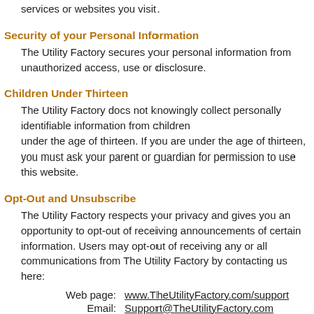services or websites you visit.
Security of your Personal Information
The Utility Factory secures your personal information from unauthorized access, use or disclosure.
Children Under Thirteen
The Utility Factory docs not knowingly collect personally identifiable information from children under the age of thirteen. If you are under the age of thirteen, you must ask your parent or guardian for permission to use this website.
Opt-Out and Unsubscribe
The Utility Factory respects your privacy and gives you an opportunity to opt-out of receiving announcements of certain information. Users may opt-out of receiving any or all communications from The Utility Factory by contacting us here:
| Label | Contact |
| --- | --- |
| Web page: | www.TheUtilityFactory.com/support |
| Email: | Support@TheUtilityFactory.com |
| Phone: | +1 425 296-6838 |
Changes to the Privacy Policy
The Utility Factory will occasionally update this Statement of